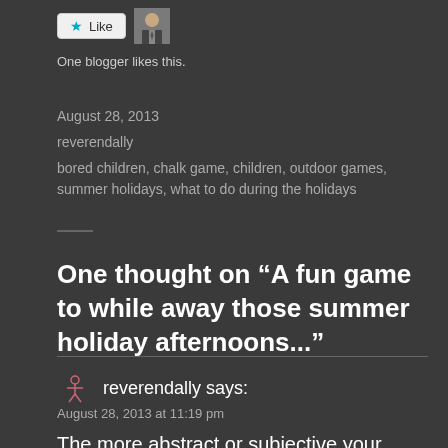[Figure (other): Like button with star icon and user avatar thumbnail]
One blogger likes this.
August 28, 2013
reverendally
bored children, chalk game, children, outdoor games, summer holidays, what to do during the holidays
One thought on “A fun game to while away those summer holiday afternoons...”
reverendally says:
August 28, 2013 at 11:19 pm
The more abstract or subjective your category, the